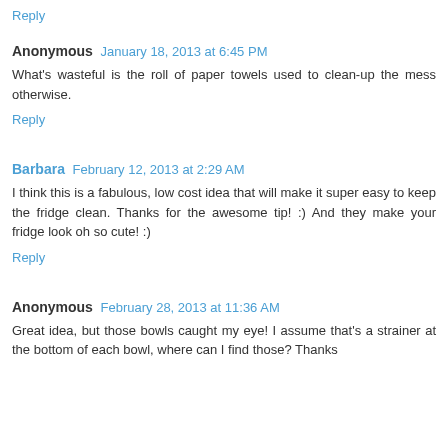Reply
Anonymous   January 18, 2013 at 6:45 PM
What's wasteful is the roll of paper towels used to clean-up the mess otherwise.
Reply
Barbara   February 12, 2013 at 2:29 AM
I think this is a fabulous, low cost idea that will make it super easy to keep the fridge clean. Thanks for the awesome tip! :) And they make your fridge look oh so cute! :)
Reply
Anonymous   February 28, 2013 at 11:36 AM
Great idea, but those bowls caught my eye! I assume that's a strainer at the bottom of each bowl, where can I find those? Thanks